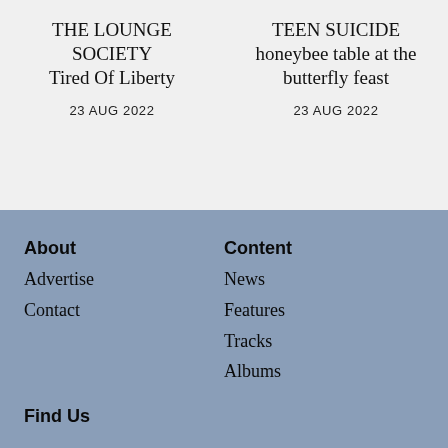THE LOUNGE SOCIETY
Tired Of Liberty
23 AUG 2022
TEEN SUICIDE
honeybee table at the butterfly feast
23 AUG 2022
About
Advertise
Contact
Content
News
Features
Tracks
Albums
Find Us